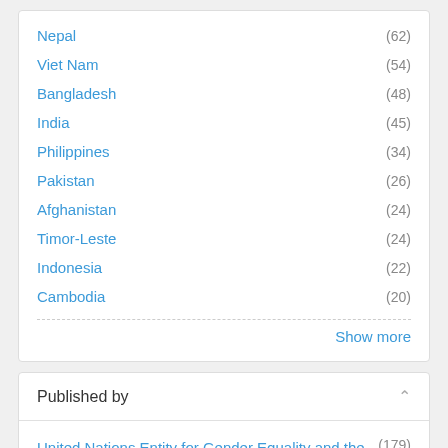Nepal (62)
Viet Nam (54)
Bangladesh (48)
India (45)
Philippines (34)
Pakistan (26)
Afghanistan (24)
Timor-Leste (24)
Indonesia (22)
Cambodia (20)
Show more
Published by
United Nations Entity for Gender Equality and the Empowerment of Women (UN Women) (179)
African Development Bank (2)